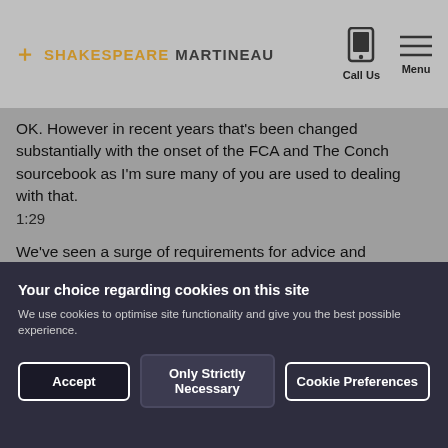SHAKESPEARE MARTINEAU — Call Us | Menu
OK. However in recent years that's been changed substantially with the onset of the FCA and The Conch sourcebook as I'm sure many of you are used to dealing with that.
1:29
We've seen a surge of requirements for advice and assistance since the outbreak of the covid pandemic.
1:40
So the world has been somewhat turned upside down
Your choice regarding cookies on this site
We use cookies to optimise site functionality and give you the best possible experience.
Accept | Only Strictly Necessary | Cookie Preferences